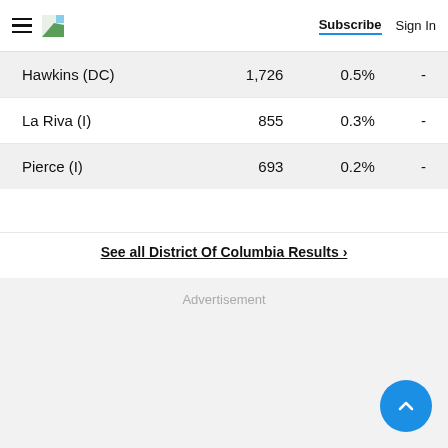Subscribe  Sign In
| Candidate | Votes | Pct |  |
| --- | --- | --- | --- |
| Hawkins (DC) | 1,726 | 0.5% | - |
| La Riva (I) | 855 | 0.3% | - |
| Pierce (I) | 693 | 0.2% | - |
See all District Of Columbia Results ›
Advertisement